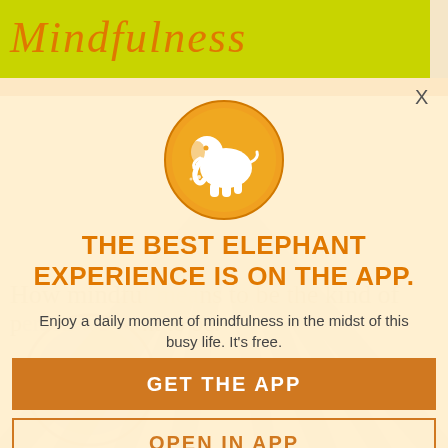Mindfulness
[Figure (logo): Orange circle with white elephant silhouette logo]
THE BEST ELEPHANT EXPERIENCE IS ON THE APP.
Enjoy a daily moment of mindfulness in the midst of this busy life. It's free.
GET THE APP
OPEN IN APP